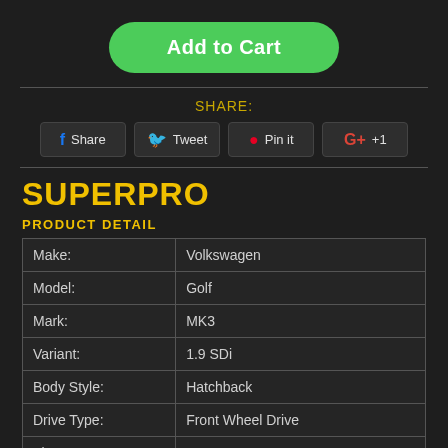Add to Cart
SHARE:
Share  Tweet  Pin it  +1
SUPERPRO
PRODUCT DETAIL
|  |  |
| --- | --- |
| Make: | Volkswagen |
| Model: | Golf |
| Mark: | MK3 |
| Variant: | 1.9 SDi |
| Body Style: | Hatchback |
| Drive Type: | Front Wheel Drive |
| Fitment Years: | 1995-1997 |